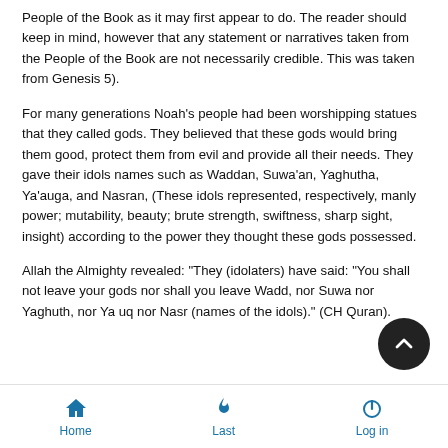People of the Book as it may first appear to do. The reader should keep in mind, however that any statement or narratives taken from the People of the Book are not necessarily credible. This was taken from Genesis 5).
For many generations Noah's people had been worshipping statues that they called gods. They believed that these gods would bring them good, protect them from evil and provide all their needs. They gave their idols names such as Waddan, Suwa'an, Yaghutha, Ya'auga, and Nasran, (These idols represented, respectively, manly power; mutability, beauty; brute strength, swiftness, sharp sight, insight) according to the power they thought these gods possessed.
Allah the Almighty revealed: "They (idolaters) have said: "You shall not leave your gods nor shall you leave Wadd, nor Suwa nor Yaghuth, nor Ya uq nor Nasr (names of the idols)." (CH Quran).
Home   Last   Log in